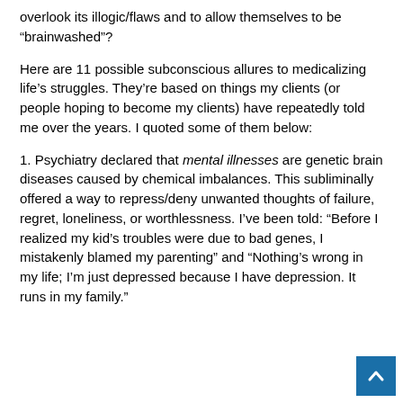overlook its illogic/flaws and to allow themselves to be “brainwashed”?
Here are 11 possible subconscious allures to medicalizing life’s struggles. They’re based on things my clients (or people hoping to become my clients) have repeatedly told me over the years. I quoted some of them below:
1. Psychiatry declared that mental illnesses are genetic brain diseases caused by chemical imbalances. This subliminally offered a way to repress/deny unwanted thoughts of failure, regret, loneliness, or worthlessness. I’ve been told: “Before I realized my kid’s troubles were due to bad genes, I mistakenly blamed my parenting” and “Nothing’s wrong in my life; I’m just depressed because I have depression. It runs in my family.”